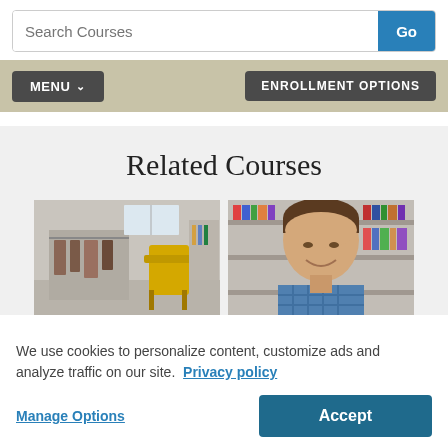[Figure (screenshot): Search bar with 'Search Courses' placeholder text and a blue 'Go' button on the right]
[Figure (screenshot): Navigation bar with dark 'MENU v' button on left and dark 'ENROLLMENT OPTIONS' button on right, on a tan/khaki background]
Related Courses
[Figure (photo): Two course thumbnail images side by side: left shows a room with clothing rack and yellow chair; right shows a smiling man in a blue plaid shirt looking down at a book in front of a bookshelf]
We use cookies to personalize content, customize ads and analyze traffic on our site.  Privacy policy
Manage Options
Accept